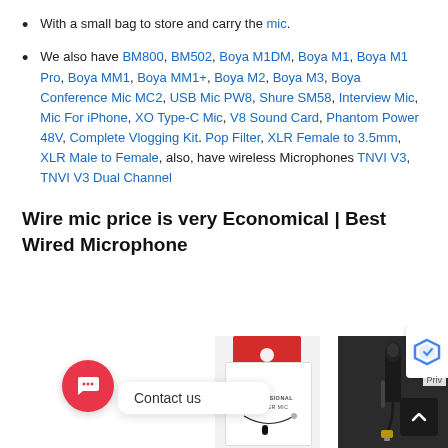With a small bag to store and carry the mic.
We also have BM800, BM502, Boya M1DM, Boya M1, Boya M1 Pro, Boya MM1, Boya MM1+, Boya M2, Boya M3, Boya Conference Mic MC2, USB Mic PW8, Shure SM58, Interview Mic, Mic For iPhone, XO Type-C Mic, V8 Sound Card, Phantom Power 48V, Complete Vlogging Kit. Pop Filter, XLR Female to 3.5mm, XLR Male to Female, also, have wireless Microphones TNVI V3, TNVI V3 Dual Channel
Wire mic price is very Economical | Best Wired Microphone
[Figure (photo): Product photo section showing a chat/contact widget with a red chat bubble icon, a product package image (Professional Lavalier Mic), a lavalier microphone, and a dark panel with privacy label and scroll-up button.]